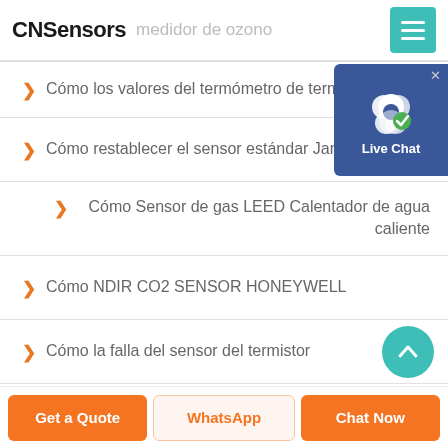CNSensors — medidor de ozono
Cómo los valores del termómetro de termopa...
Cómo restablecer el sensor estándar Jammer
Cómo Sensor de gas LEED Calentador de agua caliente
Cómo NDIR CO2 SENSOR HONEYWELL
Cómo la falla del sensor del termistor
Get a Quote | WhatsApp | Chat Now